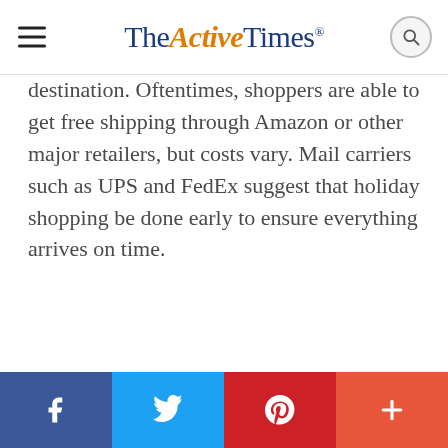TheActiveTimes
destination. Oftentimes, shoppers are able to get free shipping through Amazon or other major retailers, but costs vary. Mail carriers such as UPS and FedEx suggest that holiday shopping be done early to ensure everything arrives on time.
Facebook | Twitter | Pinterest | More